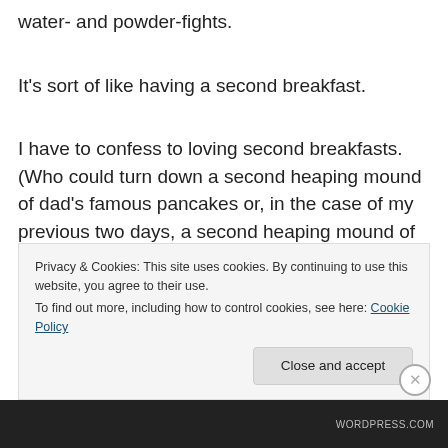water- and powder-fights.
It's sort of like having a second breakfast.
I have to confess to loving second breakfasts.  (Who could turn down a second heaping mound of dad's famous pancakes or, in the case of my previous two days, a second heaping mound of mango sticky rice?)
Second helpings of new year celebrations (or third, if you count the Chinese New Year in February) are equally welcome in my life.  A little change of pace from the
Privacy & Cookies: This site uses cookies. By continuing to use this website, you agree to their use.
To find out more, including how to control cookies, see here: Cookie Policy
Close and accept